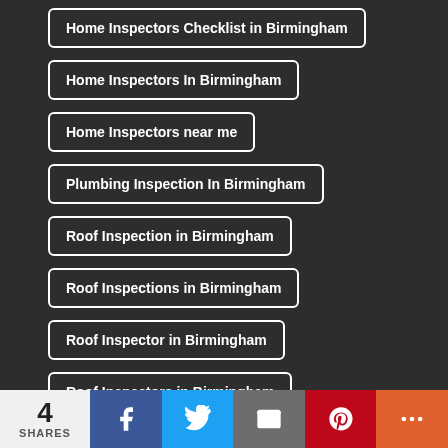Home Inspectors Checklist in Birmingham
Home Inspectors In Birmingham
Home Inspectors near me
Plumbing Inspection In Birmingham
Roof Inspection in Birmingham
Roof Inspections in Birmingham
Roof Inspector in Birmingham
Roof Inspectors in Birmingham
The Best Home Inspection in Birmingham
The Best Home Inspectors In Birmingham
4 SHARES